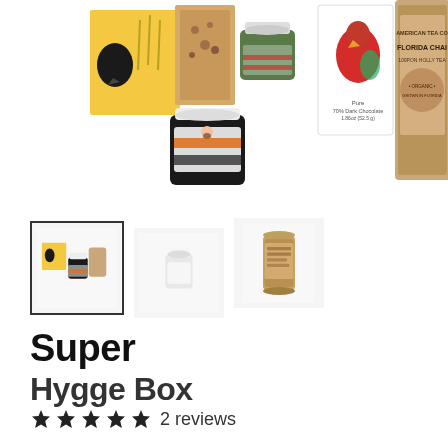[Figure (photo): Main product photo showing the Super Hygge Box contents: a yellow box with a crow, granola bars, two jars of nut butter with woman logo, a red parrot chocolate bar card, a Pure 70% Dark Chocolate bar, and a Florida Chai tea tin from American Tea Co.]
[Figure (photo): Thumbnail 1 (selected, with border): group of hygge box items]
[Figure (photo): Thumbnail 2: small white jar]
[Figure (photo): Thumbnail 3: tan/brown cylindrical tea tin]
Super Hygge Box
★★★★★ 2 reviews